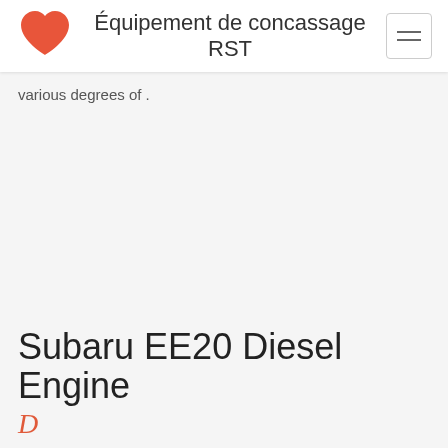Équipement de concassage RST
various degrees of .
Subaru EE20 Diesel Engine